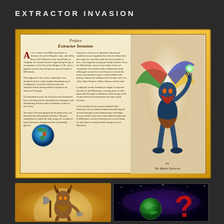EXTRACTOR INVASION
[Figure (illustration): Open book spread showing left text page with drop cap 'A', globe illustration, two-column layout with text about Extractor Invasion preface, and right page showing a winged creature called 'Ex, The Master Extractor' against a golden ornate border background]
Ex
The Master Extractor
[Figure (illustration): Bottom left image showing a horned warrior/demon figure holding an axe, set against golden ornate border background]
[Figure (illustration): Bottom right image showing a space scene with a planet, stars, and a large red question mark]